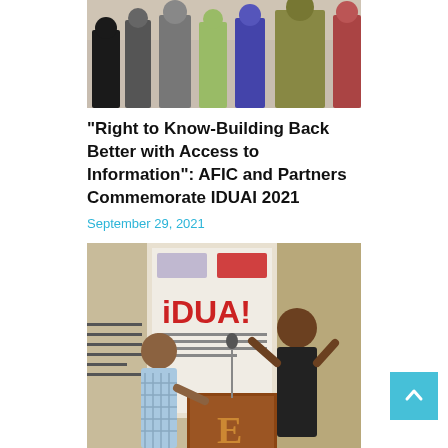[Figure (photo): Group photo of people standing at an event, partially cropped at top]
“Right to Know-Building Back Better with Access to Information”: AFIC and Partners Commemorate IDUAI 2021
September 29, 2021
[Figure (photo): Two young people standing at a podium with an IDUAI banner in the background, one making sign language gestures]
“Yes does, No doesn’t;” Young People in East Africa weigh in on the role of